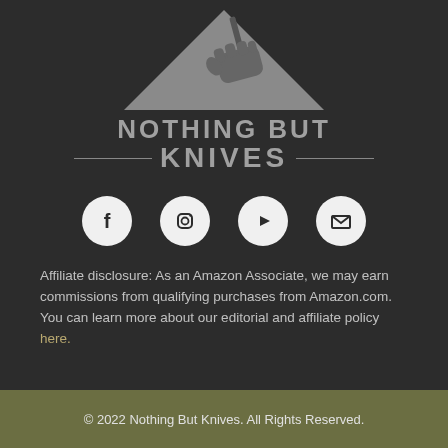[Figure (logo): Nothing But Knives logo with hand holding knife over triangle, brand name text]
[Figure (infographic): Social media icons: Facebook, Instagram, YouTube, Email]
Affiliate disclosure: As an Amazon Associate, we may earn commissions from qualifying purchases from Amazon.com. You can learn more about our editorial and affiliate policy here.
© 2022 Nothing But Knives. All Rights Reserved.